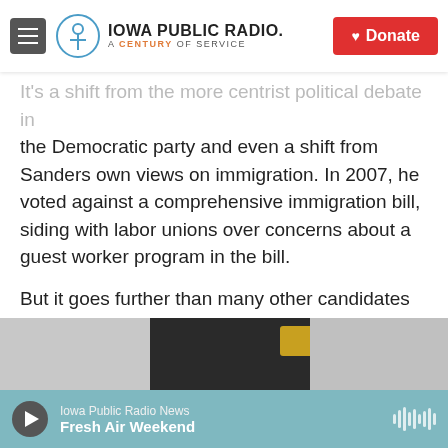Iowa Public Radio. A Century of Service. Donate
It's a shift from the more centrist political debate in the Democratic party and even a shift from Sanders own views on immigration. In 2007, he voted against a comprehensive immigration bill, siding with labor unions over concerns about a guest worker program in the bill.
But it goes further than many other candidates in protecting undocumented immigrants and might help explain his growing appeal with Latinos.
Trying to be "culturally relevant"
[Figure (photo): Partial photo visible at bottom of content area, showing a dark figure with yellow/gold accent on gray background]
Iowa Public Radio News | Fresh Air Weekend